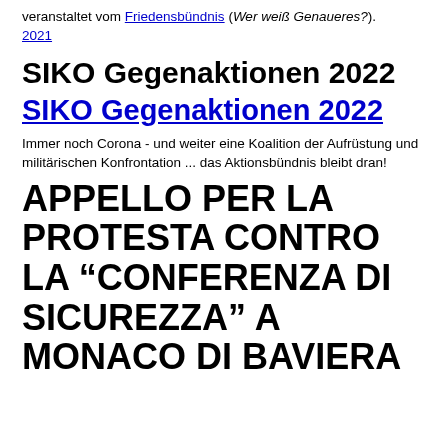veranstaltet vom Friedensbündnis (Wer weiß Genaueres?).
2021
SIKO Gegenaktionen 2022
SIKO Gegenaktionen 2022
Immer noch Corona - und weiter eine Koalition der Aufrüstung und militärischen Konfrontation ... das Aktionsbündnis bleibt dran!
APPELLO PER LA PROTESTA CONTRO LA "CONFERENZA DI SICUREZZA" A MONACO DI BAVIERA